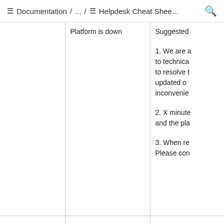Documentation / ... / Helpdesk Cheat Shee...
|  | Platform is down | Suggested |
| --- | --- | --- |
|  | Platform is down | Suggested

1. We are a... to technica... to resolve t... updated o... inconvenie...

2. X minute... and the pla...

3. When re... Please con... |
|  |  |  |
|  | I did not receive the platform login email | If you did n... i) check if a... ii) check if... |